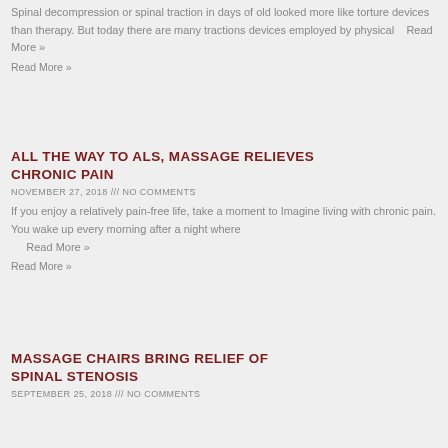Spinal decompression or spinal traction in days of old looked more like torture devices than therapy. But today there are many tractions devices employed by physical   Read More »
Read More »
ALL THE WAY TO ALS, MASSAGE RELIEVES CHRONIC PAIN
NOVEMBER 27, 2018 /// NO COMMENTS
If you enjoy a relatively pain-free life, take a moment to Imagine living with chronic pain. You wake up every morning after a night where   Read More »
Read More »
MASSAGE CHAIRS BRING RELIEF OF SPINAL STENOSIS
SEPTEMBER 25, 2018 /// NO COMMENTS